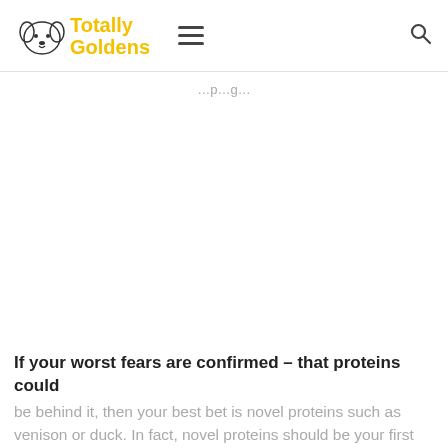Totally Goldens
If your worst fears are confirmed – that proteins could be behind it, then your best bet is novel proteins such as venison or duck. In fact, novel proteins should be your first consideration because they are too friendly to allergic dogs. So, check that the first ingredients